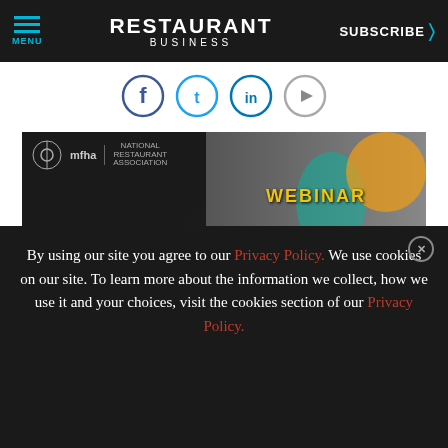MENU | RESTAURANT BUSINESS | SUBSCRIBE >
[Figure (illustration): Social media icons: Facebook, Twitter, LinkedIn, YouTube in circular borders]
[Figure (photo): Advertisement banner: BOHA! and webinar ad - OPTIMIZE YOUR BACK-OF-HOUSE OPERATIONS, Learn More button, featuring photos of smiling people with glasses, mfha and National Restaurant Association logos]
By using our site you agree to our Privacy Policy. We use cookies on our site. To learn more about the information we collect, how we use it and your choices, visit the cookies section of our Privacy Policy.